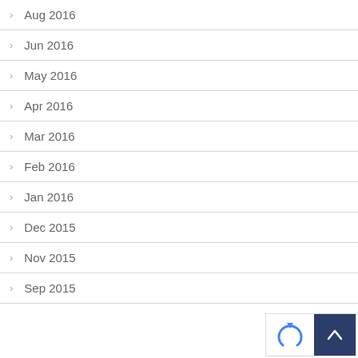Aug 2016
Jun 2016
May 2016
Apr 2016
Mar 2016
Feb 2016
Jan 2016
Dec 2015
Nov 2015
Sep 2015